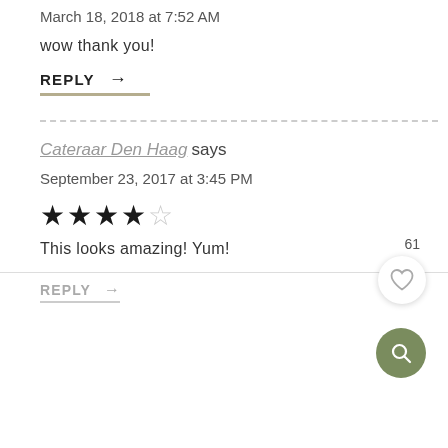March 18, 2018 at 7:52 AM
wow thank you!
REPLY →
Cateraar Den Haag says
September 23, 2017 at 3:45 PM
★★★★☆
This looks amazing! Yum!
REPLY →